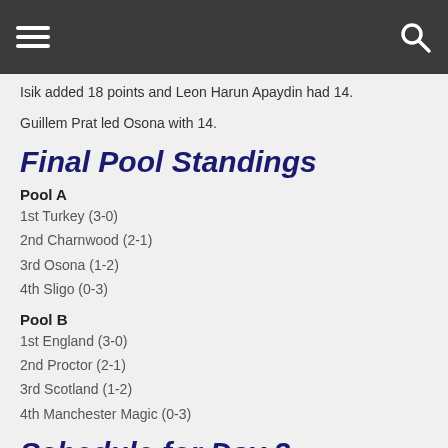Navigation bar with hamburger menu and search icon
Isik added 18 points and Leon Harun Apaydin had 14.
Guillem Prat led Osona with 14.
Final Pool Standings
Pool A
1st Turkey (3-0)
2nd Charnwood (2-1)
3rd Osona (1-2)
4th Sligo (0-3)
Pool B
1st England (3-0)
2nd Proctor (2-1)
3rd Scotland (1-2)
4th Manchester Magic (0-3)
Schedule for Day 3